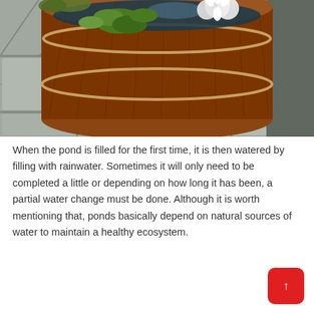[Figure (photo): A wooden barrel half-filled with water, containing aquatic plants including water hyacinth with round green leaves and white flowering plants. The barrel sits on a paved stone patio surface.]
When the pond is filled for the first time, it is then watered by filling with rainwater. Sometimes it will only need to be completed a little or depending on how long it has been, a partial water change must be done. Although it is worth mentioning that, ponds basically depend on natural sources of water to maintain a healthy ecosystem.